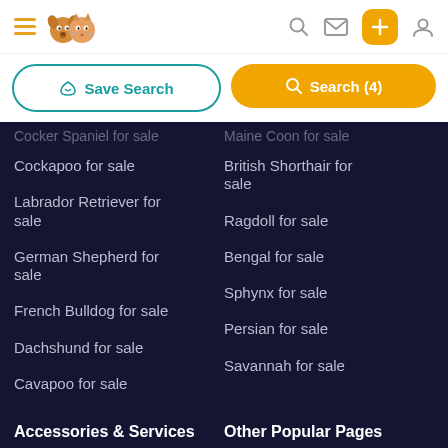Navigation header with hamburger menu, pet logo, search, mail, add (+), and user icons
Save Search | Search (4)
Cocker Spaniel for sale
Maine Coon for sale
Cockapoo for sale
British Shorthair for sale
Labrador Retriever for sale
Ragdoll for sale
German Shepherd for sale
Bengal for sale
Sphynx for sale
French Bulldog for sale
Persian for sale
Dachshund for sale
Savannah for sale
Cavapoo for sale
Accessories & Services
Other Popular Pages